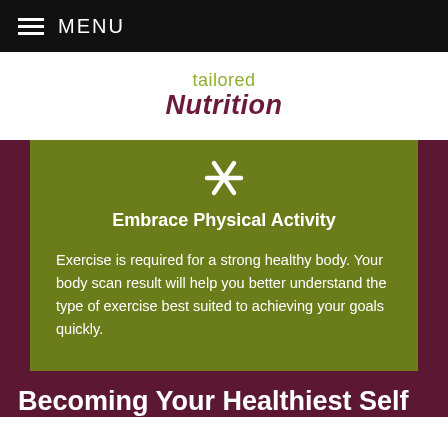MENU
tailored Nutrition
[Figure (illustration): Scissors/cutlery icon in white on olive green background]
Embrace Physical Activity
Exercise is required for a strong healthy body. Your body scan result will help you better understand the type of exercise best suited to achieving your goals quickly.
Becoming Your Healthiest Self